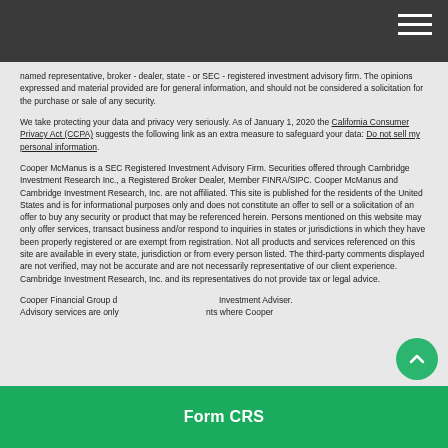named representative, broker - dealer, state - or SEC - registered investment advisory firm. The opinions expressed and material provided are for general information, and should not be considered a solicitation for the purchase or sale of any security.
We take protecting your data and privacy very seriously. As of January 1, 2020 the California Consumer Privacy Act (CCPA) suggests the following link as an extra measure to safeguard your data: Do not sell my personal information.
Cooper McManus is a SEC Registered Investment Advisory Firm. Securities offered through Cambridge Investment Research Inc., a Registered Broker Dealer, Member FINRA/SIPC. Cooper McManus and Cambridge Investment Research, Inc. are not affiliated. This site is published for the residents of the United States and is for informational purposes only and does not constitute an offer to sell or a solicitation of an offer to buy any security or product that may be referenced herein. Persons mentioned on this website may only offer services, transact business and/or respond to inquiries in states or jurisdictions in which they have been properly registered or are exempt from registration. Not all products and services referenced on this site are available in every state, jurisdiction or from every person listed. The third-party comments displayed are not verified, may not be accurate and are not necessarily representative of our client experience. Cambridge Investment Research, Inc. and its representatives do not provide tax or legal advice.
Cooper Financial Group d... Investment Adviser. Advisory services are only... nts where Cooper...
[Figure (other): Green Form CRS button/bar overlay at bottom of page]
[Figure (other): Green circular scroll-to-top button with upward chevron]